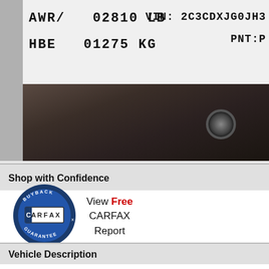[Figure (photo): Close-up photo of a vehicle identification plate/sticker showing weight values (AWR/02810 LB, HBE 01275 KG) and partial VIN number (2C3CDXJG0JH3...) and PNT code, above a dark metallic surface with a bolt hole visible.]
Shop with Confidence
[Figure (logo): CARFAX Buyback Guarantee logo — circular blue badge with CARFAX text in a rectangular box in the center]
View Free CARFAX Report
Vehicle Description
New Price! Clean CARFAX. 100% Guaranteed Financing, Charger AWD, Maximum Steel Metallic Clearcoat, Black/Black Leather, 300 brakes, Air Conditioning, Alloy wheels, AM/FM radio: SiriusXM, Auto, Auto Adjust In Reverse Exterior Mirrors, Auto-Dimming Exterior